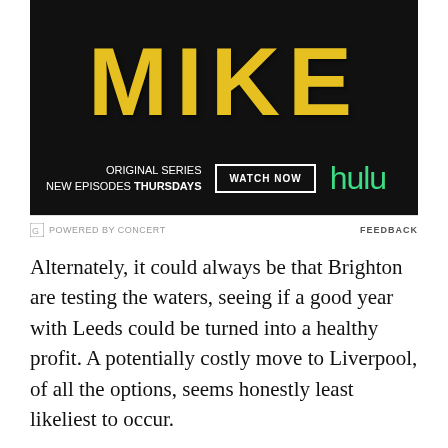[Figure (photo): Hulu advertisement for original series 'MIKE'. Black background with large yellow distressed text reading MIKE. Bottom row shows 'ORIGINAL SERIES NEW EPISODES THURSDAYS', a 'WATCH NOW' button, and the green Hulu logo.]
POWERED BY CONCERT   FEEDBACK
Alternately, it could always be that Brighton are testing the waters, seeing if a good year with Leeds could be turned into a healthy profit. A potentially costly move to Liverpool, of all the options, seems honestly least likeliest to occur.
Regardless, we're likely to hear a bit more about it in the coming weeks and months, with the rumour mongers saying it's not likely to be a January deal